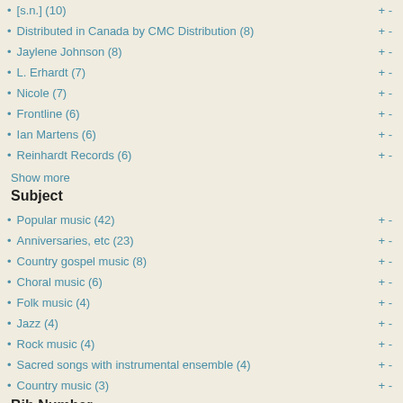[s.n.] (10)
Distributed in Canada by CMC Distribution (8)
Jaylene Johnson (8)
L. Erhardt (7)
Nicole (7)
Frontline (6)
Ian Martens (6)
Reinhardt Records (6)
Show more
Subject
Popular music (42)
Anniversaries, etc (23)
Country gospel music (8)
Choral music (6)
Folk music (4)
Jazz (4)
Rock music (4)
Sacred songs with instrumental ensemble (4)
Country music (3)
Bib Number